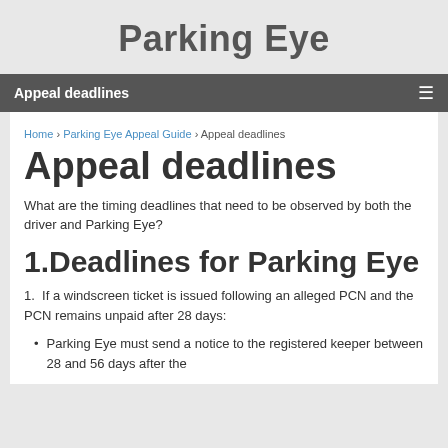Parking Eye
Appeal deadlines
Home › Parking Eye Appeal Guide › Appeal deadlines
Appeal deadlines
What are the timing deadlines that need to be observed by both the driver and Parking Eye?
1.Deadlines for Parking Eye
1.  If a windscreen ticket is issued following an alleged PCN and the PCN remains unpaid after 28 days:
Parking Eye must send a notice to the registered keeper between 28 and 56 days after the